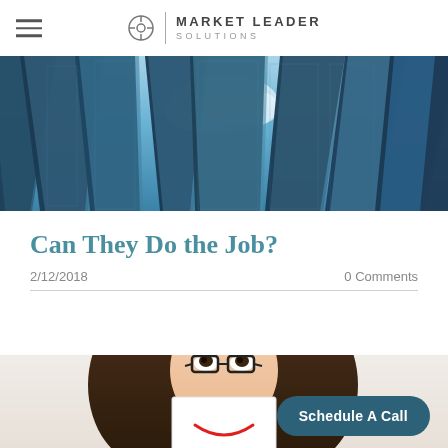MARKET LEADER SOLUTIONS
[Figure (photo): Upward-looking wide-angle photo of tall glass skyscrapers against a blue sky]
Can They Do the Job?
2/12/2018    0 Comments
[Figure (photo): Woman with brown hair and glasses holding a card with a drawn smile in front of her mouth, looking upward humorously]
Schedule A Call